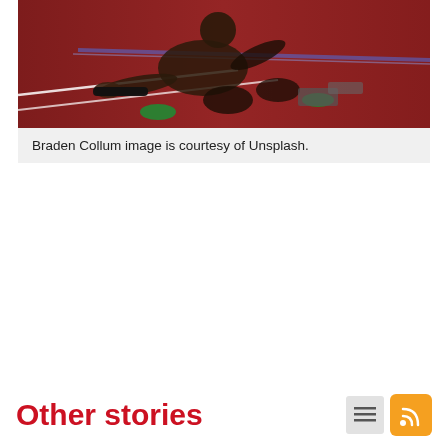[Figure (photo): Athlete in starting position on a red running track, holding a relay baton, photographed from above and front]
Braden Collum image is courtesy of Unsplash.
Other stories